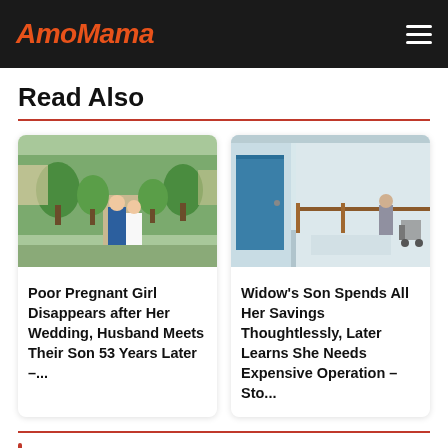AmoMama
Read Also
[Figure (photo): Wedding couple walking along a garden path, groom in blue suit, bride in white dress, trees lining the path]
Poor Pregnant Girl Disappears after Her Wedding, Husband Meets Their Son 53 Years Later –...
[Figure (photo): Hospital corridor with blue door, handrails on wall, person standing at end of hallway with medical equipment]
Widow's Son Spends All Her Savings Thoughtlessly, Later Learns She Needs Expensive Operation – Sto...
"It went really well, and now I have the nose